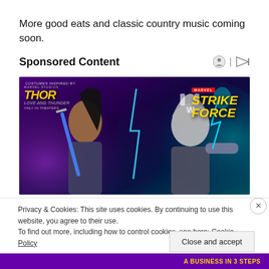More good eats and classic country music coming soon.
Sponsored Content
[Figure (photo): Marvel Strike Force advertisement featuring Thor: Love and Thunder characters — a female warrior with a blue sword on the left and the Mighty Thor in helmet on the right, against a purple/teal glowing background. MARVEL STRIKE FORCE logo is visible in yellow text.]
Privacy & Cookies: This site uses cookies. By continuing to use this website, you agree to their use.
To find out more, including how to control cookies, see here: Cookie Policy